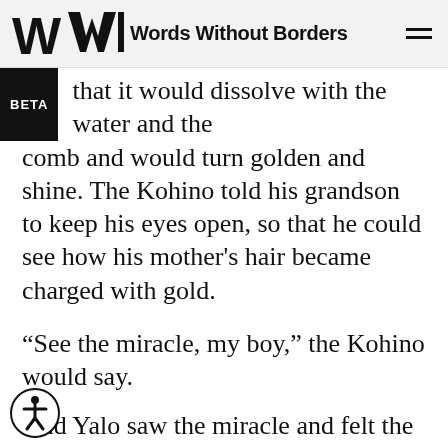Words Without Borders
that it would dissolve with the water and the comb and would turn golden and shine. The Kohino told his grandson to keep his eyes open, so that he could see how his mother's hair became charged with gold.
“See the miracle, my boy,” the Kohino would say.
And Yalo saw the miracle and felt the taste of the salty sugar in his throat and from between the Kohino’s lips, edged with his large white beard, saw colors emerge. The Kohino would shake the comb, and the dim light that penetrated the darkness of the shore would trace spots on his hands and eyes, and the comb would rise and fall